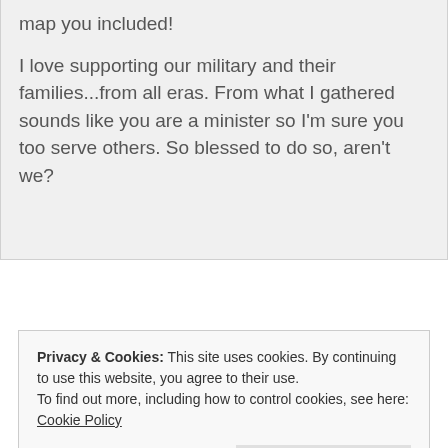map you included!
I love supporting our military and their families...from all eras. From what I gathered sounds like you are a minister so I'm sure you too serve others. So blessed to do so, aren't we?
↩ Reply
Privacy & Cookies: This site uses cookies. By continuing to use this website, you agree to their use.
To find out more, including how to control cookies, see here: Cookie Policy
Close and accept